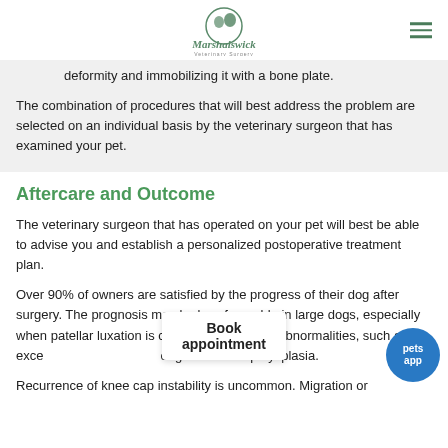Marshalswick Veterinary Surgery
deformity and immobilizing it with a bone plate.
The combination of procedures that will best address the problem are selected on an individual basis by the veterinary surgeon that has examined your pet.
Aftercare and Outcome
The veterinary surgeon that has operated on your pet will best be able to advise you and establish a personalized postoperative treatment plan.
Over 90% of owners are satisfied by the progress of their dog after surgery. The prognosis may be less favorable in large dogs, especially when patellar luxation is combined with other abnormalities, such as exce… e l bones or hip dysplasia.
Recurrence of knee cap instability is uncommon. Migration or